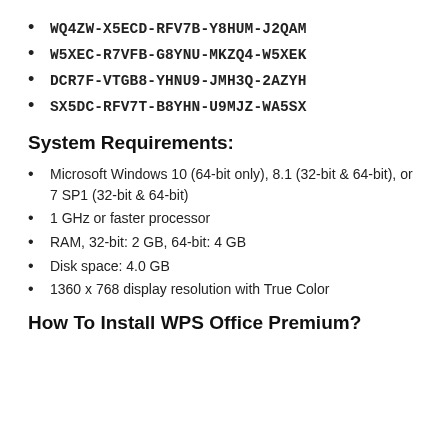WQ4ZW-X5ECD-RFV7B-Y8HUM-J2QAM
W5XEC-R7VFB-G8YNU-MKZQ4-W5XEK
DCR7F-VTGB8-YHNU9-JMH3Q-2AZYH
SX5DC-RFV7T-B8YHN-U9MJZ-WA5SX
System Requirements:
Microsoft Windows 10 (64-bit only), 8.1 (32-bit & 64-bit), or 7 SP1 (32-bit & 64-bit)
1 GHz or faster processor
RAM, 32-bit: 2 GB, 64-bit: 4 GB
Disk space: 4.0 GB
1360 x 768 display resolution with True Color
How To Install WPS Office Premium?